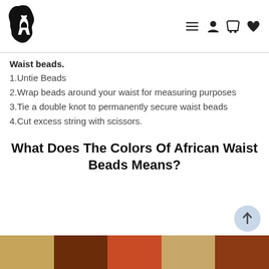Navigation header with Africa-silhouette logo and icons
Waist beads.
1.Untie Beads
2.Wrap beads around your waist for measuring purposes
3.Tie a double knot to permanently secure waist beads
4.Cut excess string with scissors.
What Does The Colors Of African Waist Beads Means?
[Figure (illustration): Color swatches showing earthy tones: tan/khaki, dark brown, orange-red, beige/tan, burnt orange-brown]